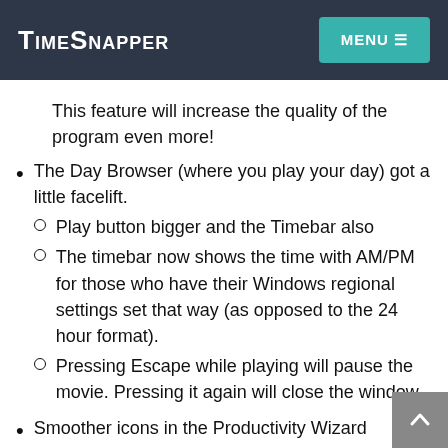TimeSnapper
This feature will increase the quality of the program even more!
The Day Browser (where you play your day) got a little facelift.
Play button bigger and the Timebar also
The timebar now shows the time with AM/PM for those who have their Windows regional settings set that way (as opposed to the 24 hour format).
Pressing Escape while playing will pause the movie. Pressing it again will close the window
Smoother icons in the Productivity Wizard